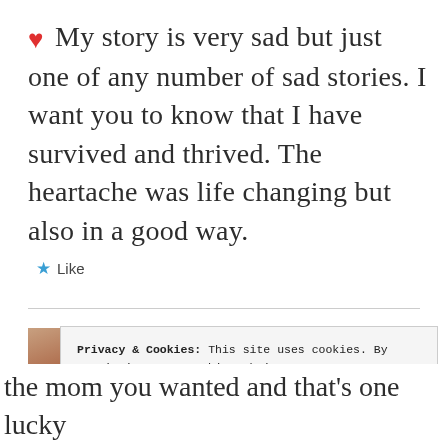❤ My story is very sad but just one of any number of sad stories. I want you to know that I have survived and thrived. The heartache was life changing but also in a good way.
★ Like
Privacy & Cookies: This site uses cookies. By continuing to use this website, you agree to their use. To find out more, including how to control cookies, see here: Cookie Policy
Close and accept
the mom you wanted and that's one lucky